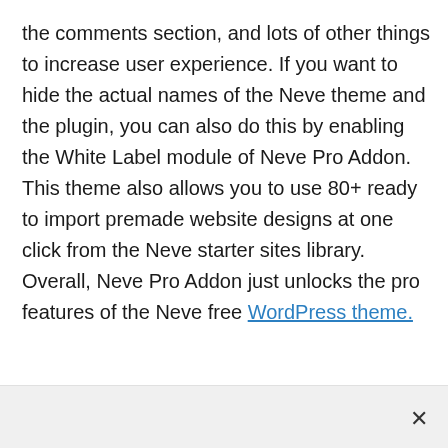the comments section, and lots of other things to increase user experience. If you want to hide the actual names of the Neve theme and the plugin, you can also do this by enabling the White Label module of Neve Pro Addon. This theme also allows you to use 80+ ready to import premade website designs at one click from the Neve starter sites library. Overall, Neve Pro Addon just unlocks the pro features of the Neve free WordPress theme.